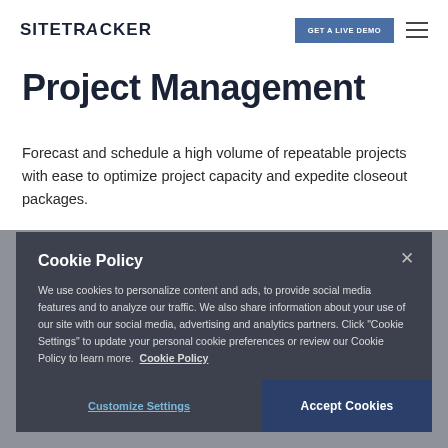SITETRACKER | GET A LIVE DEMO
Project Management
Forecast and schedule a high volume of repeatable projects with ease to optimize project capacity and expedite closeout packages.
Explore Project Management...
Cookie Policy

We use cookies to personalize content and ads, to provide social media features and to analyze our traffic. We also share information about your use of our site with our social media, advertising and analytics partners. Click "Cookie Settings" to update your personal cookie preferences or review our Cookie Policy to learn more. Cookie Policy
Customize Settings | Accept Cookies